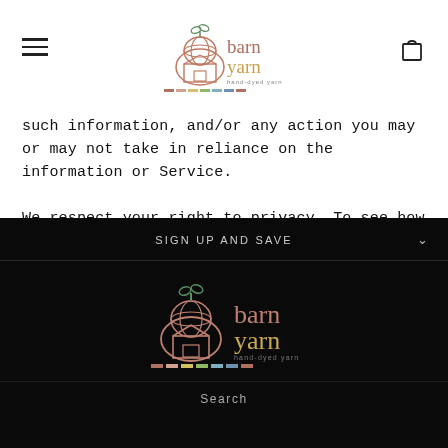[Figure (logo): Barn Yarn hand-dyed yarn logo with barn/yarn ball icon and colorful stripe bar, shown in header]
such information, and/or any action you may or may not take in reliance on the information or Service.

We respect your right to privacy. To see how we collect and use your personal information, please see our Privacy Notice.
SIGN UP AND SAVE
[Figure (logo): Barn Yarn hand-dyed yarn logo with barn/yarn ball icon and colorful stripe bar, shown in dark footer]
Search